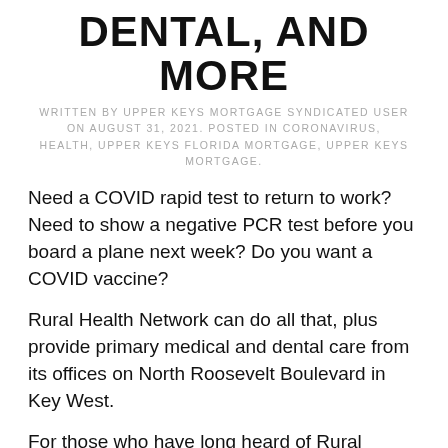DENTAL, AND MORE
WRITTEN BY UPPER KEYS MORTGAGE SYNDICATED USER ON AUGUST 31, 2021. POSTED IN CORONAVIRUS, HEALTH, UPPER KEYS FLORIDA MORTGAGE, UPPER KEYS MORTGAGE.
Need a COVID rapid test to return to work? Need to show a negative PCR test before you board a plane next week? Do you want a COVID vaccine?
Rural Health Network can do all that, plus provide primary medical and dental care from its offices on North Roosevelt Boulevard in Key West.
For those who have long heard of Rural Health Network, but never known precisely what it does, here’s a quick refresher:
Rural Health Network is a non-profit medical and dental...